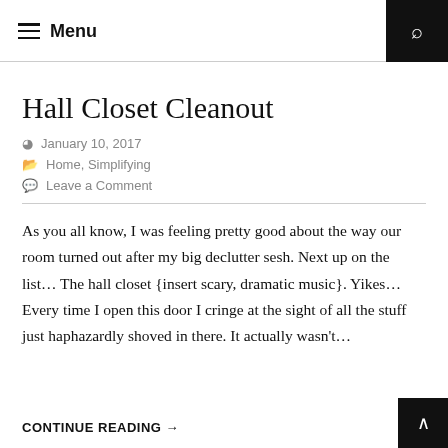Menu
Hall Closet Cleanout
January 10, 2017
Home, Simplifying
Leave a Comment
As you all know, I was feeling pretty good about the way our room turned out after my big declutter sesh. Next up on the list… The hall closet {insert scary, dramatic music}. Yikes… Every time I open this door I cringe at the sight of all the stuff just haphazardly shoved in there. It actually wasn't…
CONTINUE READING →